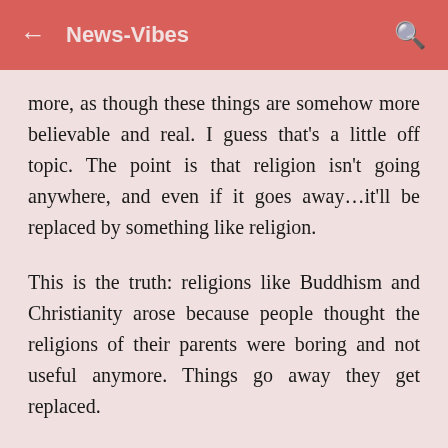News-Vibes
more, as though these things are somehow more believable and real. I guess that’s a little off topic. The point is that religion isn’t going anywhere, and even if it goes away…it’ll be replaced by something like religion.
This is the truth: religions like Buddhism and Christianity arose because people thought the religions of their parents were boring and not useful anymore. Things go away they get replaced.
Anyway, here’s the core of my argument and I’ll try to